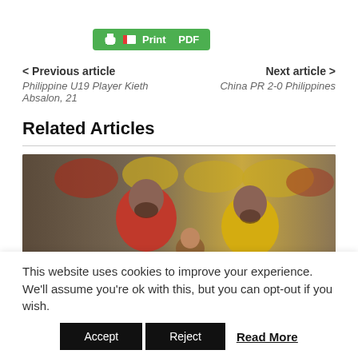[Figure (other): Green Print/PDF button with printer icon and red PDF icon]
< Previous article
Philippine U19 Player Kieth Absalon, 21
Next article >
China PR 2-0 Philippines
Related Articles
[Figure (photo): Football match photo showing players in red and yellow jerseys with crowd in background]
This website uses cookies to improve your experience. We'll assume you're ok with this, but you can opt-out if you wish.
Accept   Reject   Read More